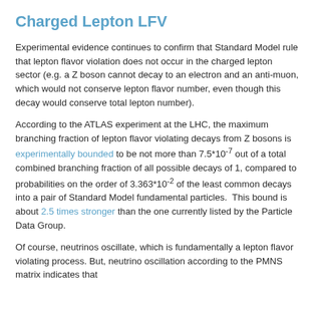Charged Lepton LFV
Experimental evidence continues to confirm that Standard Model rule that lepton flavor violation does not occur in the charged lepton sector (e.g. a Z boson cannot decay to an electron and an anti-muon, which would not conserve lepton flavor number, even though this decay would conserve total lepton number).
According to the ATLAS experiment at the LHC, the maximum branching fraction of lepton flavor violating decays from Z bosons is experimentally bounded to be not more than 7.5*10^-7 out of a total combined branching fraction of all possible decays of 1, compared to probabilities on the order of 3.363*10^-2 of the least common decays into a pair of Standard Model fundamental particles. This bound is about 2.5 times stronger than the one currently listed by the Particle Data Group.
Of course, neutrinos oscillate, which is fundamentally a lepton flavor violating process. But, neutrino oscillation according to the PMNS matrix indicates that...